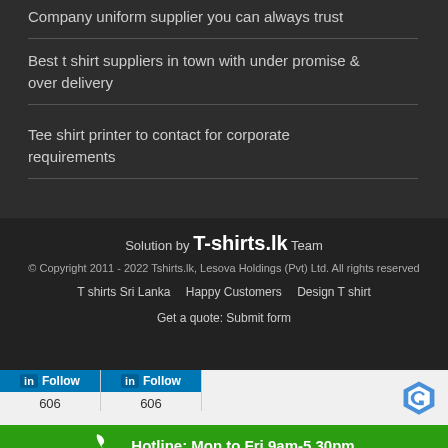Company uniform supplier you can always trust
Best t shirt suppliers in town with under promise & over delivery
Tee shirt printer to contact for corporate requirements
Solution by T-shirts.lk Team
© Copyright 2011 - 2022 Tshirts.lk, Lesova Holdings (Pvt) Ltd. All rights reserved
T shirts Sri Lanka   Happy Customers   Design T shirt
Get a quote: Submit form
Follow 606   Follow 606
Hotline: Mon to Fri 9am-5.30pm